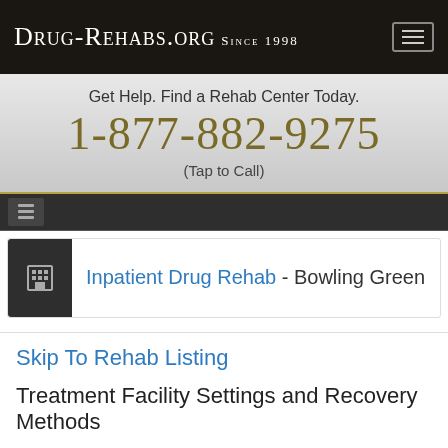Drug-Rehabs.org Since 1998
Get Help. Find a Rehab Center Today.
1-877-882-9275
(Tap to Call)
Inpatient Drug Rehab - Bowling Green
Skip To Rehab Listing
Treatment Facility Settings and Recovery Methods
Bowling Green's many rehab programs, a few of which are laid out below, address a problem that is widespread in cities throughout the US: alcohol